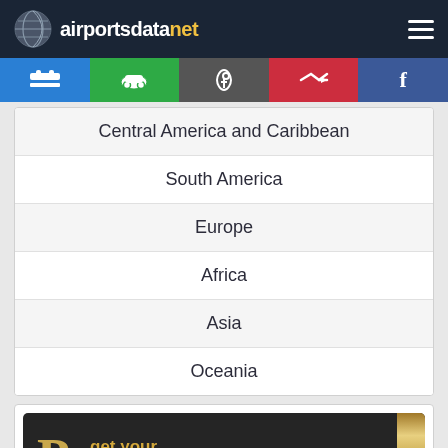airportsdatanet
Central America and Caribbean
South America
Europe
Africa
Asia
Oceania
[Figure (infographic): get your VIP lounge pass advertisement with gold and dark card design]